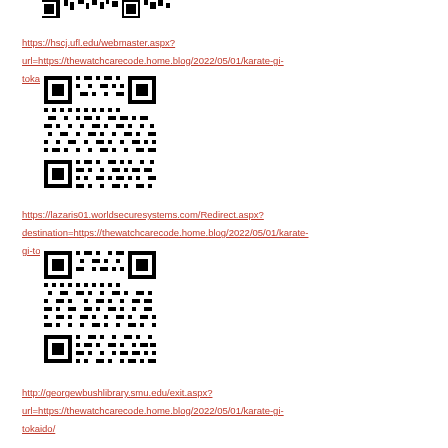[Figure (other): Partial QR code or logo visible at top of page]
https://hscj.ufl.edu/webmaster.aspx?url=https://thewatchcarecode.home.blog/2022/05/01/karate-gi-tokaido/
[Figure (other): QR code linking to thewatchcarecode.home.blog karate-gi-tokaido page]
https://lazaris01.worldsecuresystems.com/Redirect.aspx?destination=https://thewatchcarecode.home.blog/2022/05/01/karate-gi-tokaido/
[Figure (other): QR code linking to thewatchcarecode.home.blog karate-gi-tokaido page]
http://georgewbushlibrary.smu.edu/exit.aspx?url=https://thewatchcarecode.home.blog/2022/05/01/karate-gi-tokaido/